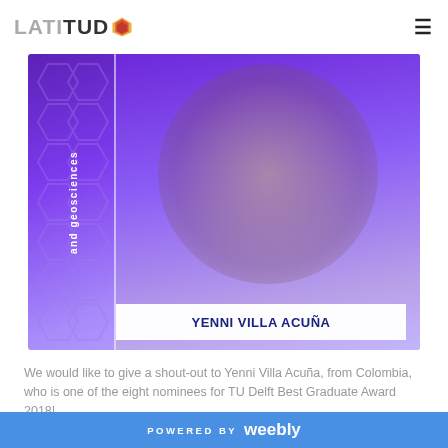LATITUD (logo) with hamburger menu
[Figure (photo): Yenni Villa Acuña photo on purple/violet gradient background with hexagon pattern, rotated text reading 'and geosciences', white vertical divider, and white name banner at bottom reading 'Yenni Villa Acuña']
We would like to give a shout-out to Yenni Villa Acuña, from Colombia, who is one of the eight nominees for TU Delft Best Graduate Award 2018!
Yenni completed her master's degree in Applied Earth Sciences. Her thesis work is part of the IDEA-League
POWERED BY weebly